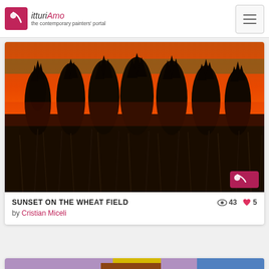PitturiAmo — the contemporary painters' portal
[Figure (photo): Painting of a sunset over a wheat field with dark silhouetted trees against a vivid orange-red sky. Small purple logo badge in bottom-right corner of image.]
SUNSET ON THE WHEAT FIELD  👁 43  ❤ 5
by Cristian Miceli
[Figure (photo): Partial view of a colorful expressionist painting featuring purple brushstrokes, a yellow shape, brown wooden element, and blue swirling areas.]